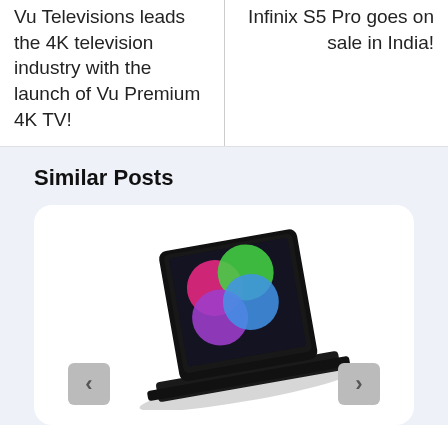Vu Televisions leads the 4K television industry with the launch of Vu Premium 4K TV!
Infinix S5 Pro goes on sale in India!
Similar Posts
[Figure (photo): A laptop computer shown from a low angle with a colorful display showing circles of pink, green, purple, and blue on a dark background.]